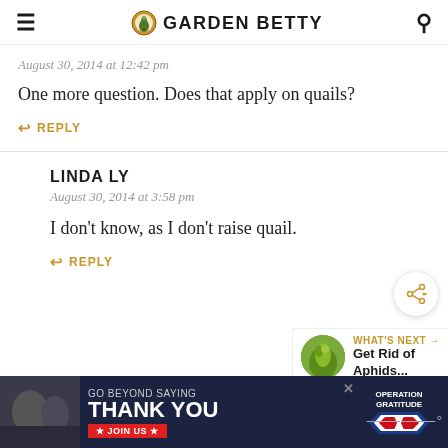GARDEN BETTY
August 30, 2014 at 12:42 pm
One more question. Does that apply on quails?
REPLY
LINDA LY
August 30, 2014 at 3:58 pm
I don't know, as I don't raise quail.
REPLY
WHAT'S NEXT → Get Rid of Aphids...
[Figure (screenshot): Operation Gratitude advertisement: GO BEYOND SAYING THANK YOU, JOIN US]